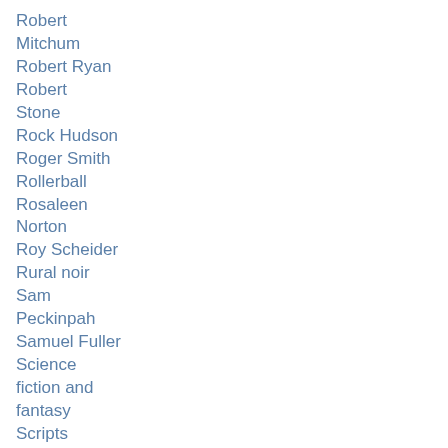Robert
Mitchum
Robert Ryan
Robert
Stone
Rock Hudson
Roger Smith
Rollerball
Rosaleen
Norton
Roy Scheider
Rural noir
Sam
Peckinpah
Samuel Fuller
Science
fiction and
fantasy
Scripts